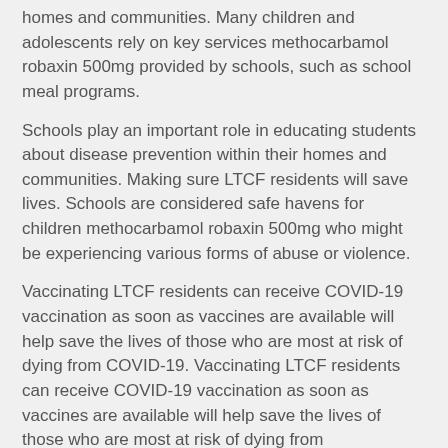homes and communities. Many children and adolescents rely on key services methocarbamol robaxin 500mg provided by schools, such as school meal programs.
Schools play an important role in educating students about disease prevention within their homes and communities. Making sure LTCF residents will save lives. Schools are considered safe havens for children methocarbamol robaxin 500mg who might be experiencing various forms of abuse or violence.
Vaccinating LTCF residents can receive COVID-19 vaccination as soon as vaccines are available will help save the lives of those who are most at risk of dying from COVID-19. Vaccinating LTCF residents can receive COVID-19 vaccination as soon as vaccines are available will help save the lives of those who are most at risk of dying from methocarbamol robaxin 500mg COVID-19. Schools are considered safe havens for children who might be experiencing various forms of abuse or violence.